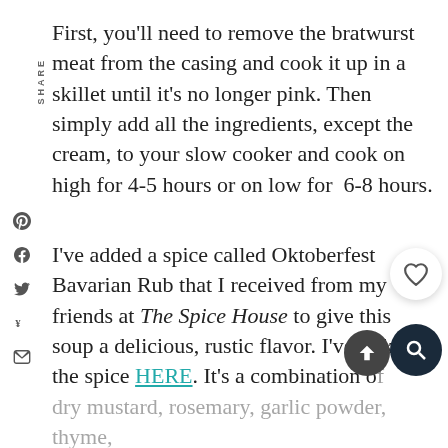First, you'll need to remove the bratwurst meat from the casing and cook it up in a skillet until it's no longer pink. Then simply add all the ingredients, except the cream, to your slow cooker and cook on high for 4-5 hours or on low for  6-8 hours.
I've added a spice called Oktoberfest Bavarian Rub that I received from my friends at The Spice House to give this soup a delicious, rustic flavor. I've linked the spice HERE. It's a combination of dry mustard, rosemary, garlic powder, thyme, sage and bay leaf. Since you guys may not have that spice, I've included the same ingredients they use for the rub in the recipe.